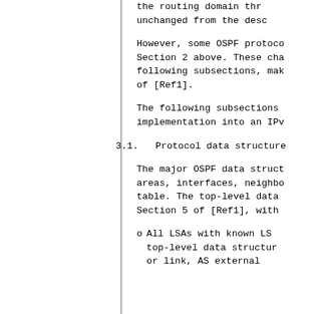the routing domain thr... unchanged from the desc...
However, some OSPF proto... Section 2 above. These cha... following subsections, mak... of [Ref1].
The following subsections ... implementation into an IPv...
3.1.  Protocol data structure
The major OSPF data struct... areas, interfaces, neighbo... table. The top-level data ... Section 5 of [Ref1], with ...
o   All LSAs with known LS... top-level data structur... or link, AS external...